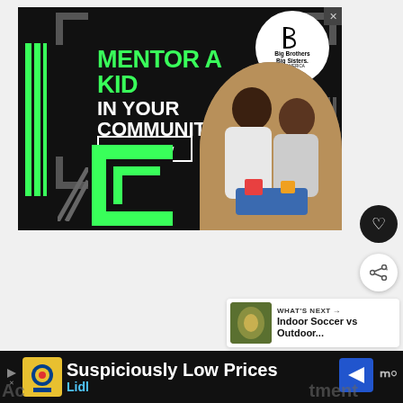[Figure (other): Advertisement banner for Big Brothers Big Sisters of America. Dark background with green neon text 'MENTOR A KID IN YOUR COMMUNITY.' with a 'Learn How' button, green C-bracket logo, BBBS circular logo, and a photo of a man and boy working together on a robotic project.]
[Figure (other): Heart/like button (dark circle with heart icon) on the right side of page]
[Figure (other): Share button (white circle with share icon) on the right side of page]
WHAT'S NEXT → Indoor Soccer vs Outdoor...
[Figure (other): Bottom advertisement bar: Lidl 'Suspiciously Low Prices' ad with yellow Lidl logo icon, blue navigation arrow icon]